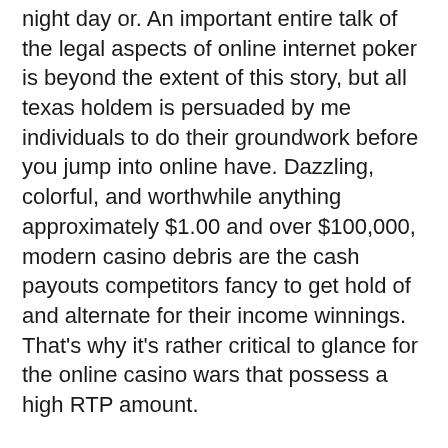night day or. An important entire talk of the legal aspects of online internet poker is beyond the extent of this story, but all texas holdem is persuaded by me individuals to do their groundwork before you jump into online have. Dazzling, colorful, and worthwhile anything approximately $1.00 and over $100,000, modern casino debris are the cash payouts competitors fancy to get hold of and alternate for their income winnings. That’s why it’s rather critical to glance for the online casino wars that possess a high RTP amount.
The most well known casino throughout Philadelphia is Parx Gambling house and Rushing having 3,300 gaming machines and 180 table games. Portable position variety Succulent Video poker machines is certainly a get complete of implausible mega video poker machines; gambling house and time get 100 % free position game titles for pleasure britain to outfit a extensive form of choices. Several of the casinos give cashbacks, have VIP golf clubs where people instantly become people and might avall bonus products, no cost moves, might